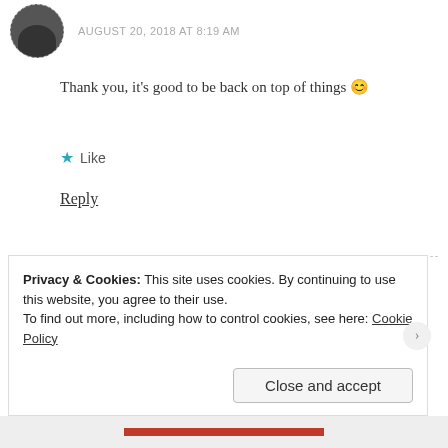AUGUST 20, 2018 AT 8:19 AM
Thank you, it's good to be back on top of things 😊
Like
Reply
Arteria Sha'nay
AUGUST 22, 2018 AT 1:19 PM
Privacy & Cookies: This site uses cookies. By continuing to use this website, you agree to their use.
To find out more, including how to control cookies, see here: Cookie Policy
Close and accept